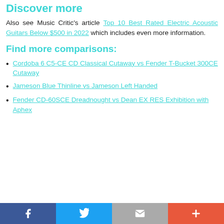Discover more
Also see Music Critic's article Top 10 Best Rated Electric Acoustic Guitars Below $500 in 2022 which includes even more information.
Find more comparisons:
Cordoba 6 C5-CE CD Classical Cutaway vs Fender T-Bucket 300CE Cutaway
Jameson Blue Thinline vs Jameson Left Handed
Fender CD-60SCE Dreadnought vs Dean EX RES Exhibition with Aphex
Music Critic logo footer with social share buttons: Facebook, Twitter, Email, Plus